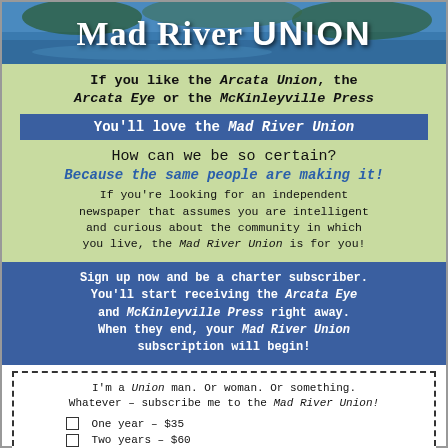[Figure (photo): Header photo of river/nature scene with 'Mad River UNION' text overlaid in white bold typeface]
If you like the Arcata Union, the Arcata Eye or the McKinleyville Press
You'll love the Mad River Union
How can we be so certain?
Because the same people are making it!
If you're looking for an independent newspaper that assumes you are intelligent and curious about the community in which you live, the Mad River Union is for you!
Sign up now and be a charter subscriber. You'll start receiving the Arcata Eye and McKinleyville Press right away. When they end, your Mad River Union subscription will begin!
I'm a Union man. Or woman. Or something. Whatever – subscribe me to the Mad River Union!
☐ One year – $35
☐ Two years – $60
☐ Three years – $80
☐ You can list me as a charter subscriber in the newspaper.
Name